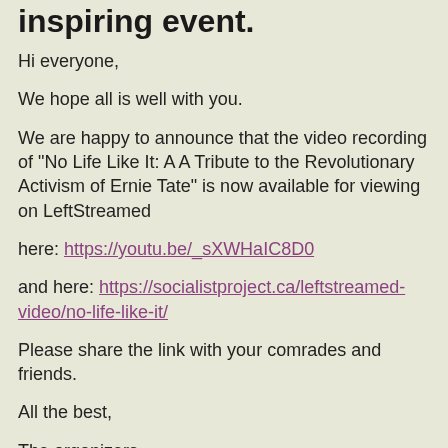inspiring event.
Hi everyone,
We hope all is well with you.
We are happy to announce that the video recording of "No Life Like It: A A Tribute to the Revolutionary Activism of Ernie Tate" is now available for viewing on LeftStreamed
here: https://youtu.be/_sXWHaIC8D0
and here: https://socialistproject.ca/leftstreamed-video/no-life-like-it/
Please share the link with your comrades and friends.
All the best,
The organizers
*----------*---------*---------*----------*----------*---------*
*----------*---------*---------*----------*----------*---------*